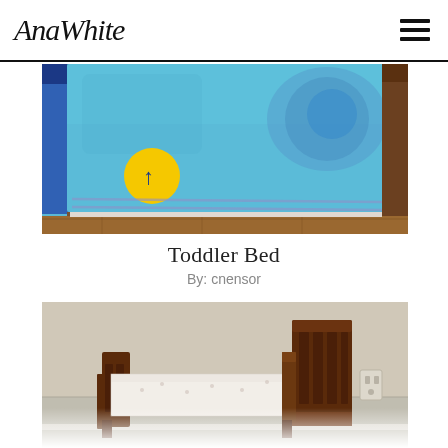AnaWhite [hamburger menu]
[Figure (photo): Photo of a toddler bed covered with a blue Thomas the Tank Engine comforter. The comforter features characters including Thomas and James. A yellow circle with a blue arrow is visible on the comforter. Wooden floors visible beneath, wooden storage visible to the right.]
Toddler Bed
By: cnensor
[Figure (photo): Photo of a wooden toddler bed frame with dark cherry/mahogany stain. The bed has a tall slatted headboard and low footboard rail. A white mattress with small print pattern is on the bed. Beige walls and light carpet floor. An electrical outlet is visible on the right wall.]